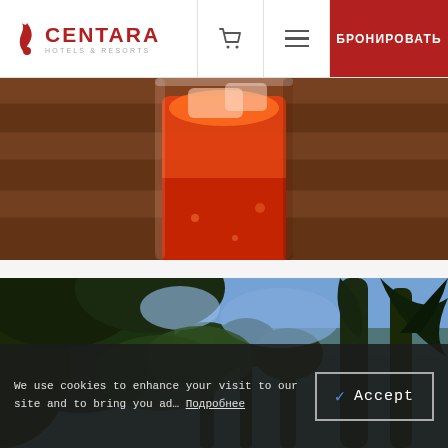Centara Hotels & Resorts — Navigation bar with logo, cart, menu, and БРОНИРОВАТЬ button
[Figure (photo): Close-up of a red/orange cocktail drink in a glass with ice, on a wooden surface]
[Figure (photo): View looking up through tropical trees with palm and leafy trees against a blue sky]
We use cookies to enhance your visit to our site and to bring you ad… Подробнее
Accept